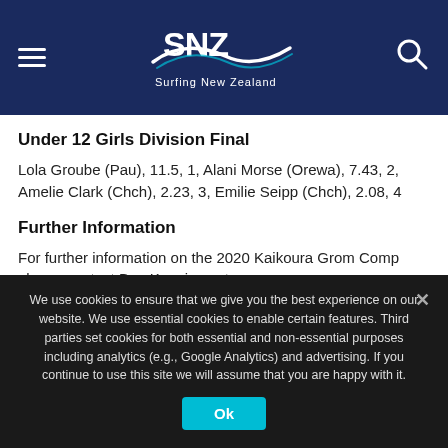Surfing New Zealand
Under 12 Girls Division Final
Lola Groube (Pau), 11.5, 1, Alani Morse (Orewa), 7.43, 2, Amelie Clark (Chch), 2.23, 3, Emilie Seipp (Chch), 2.08, 4
Further Information
For further information on the 2020 Kaikoura Grom Comp please contact Ben Kennings at benkennings@surfingnz.co.nz or call 0212278732.
We use cookies to ensure that we give you the best experience on our website. We use essential cookies to enable certain features. Third parties set cookies for both essential and non-essential purposes including analytics (e.g., Google Analytics) and advertising. If you continue to use this site we will assume that you are happy with it.